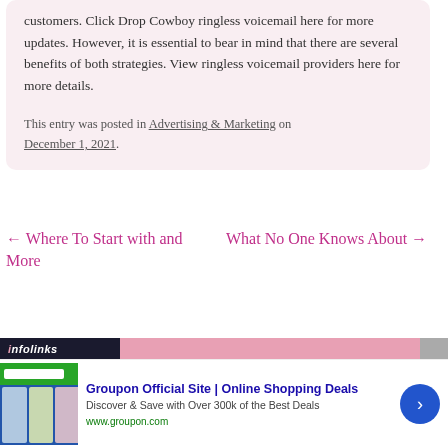customers. Click Drop Cowboy ringless voicemail here for more updates. However, it is essential to bear in mind that there are several benefits of both strategies. View ringless voicemail providers here for more details.
This entry was posted in Advertising & Marketing on December 1, 2021.
← Where To Start with and More
What No One Knows About →
[Figure (screenshot): Infolinks advertisement bar with Groupon Official Site ad showing 'Online Shopping Deals', 'Discover & Save with Over 300k of the Best Deals', www.groupon.com, with a close button and navigation arrow.]